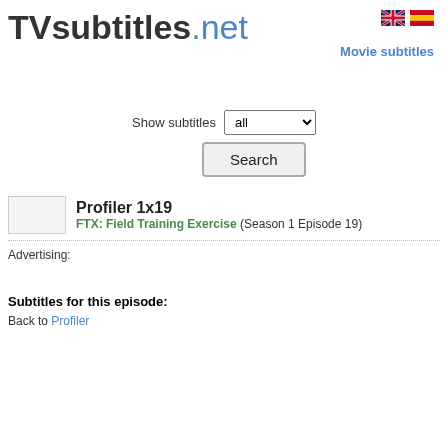TVsubtitles.net
Movie subtitles
Show subtitles all
Search
Profiler 1x19
FTX: Field Training Exercise (Season 1 Episode 19)
Advertising:
Subtitles for this episode:
Back to Profiler